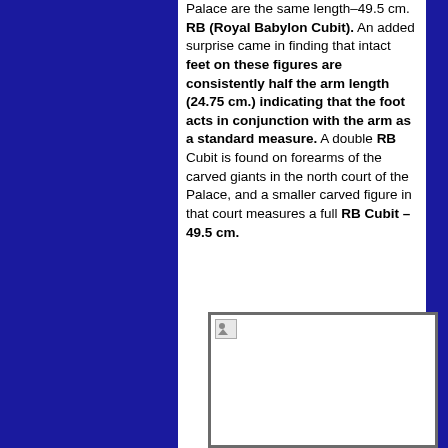Palace are the same length–49.5 cm. RB (Royal Babylon Cubit). An added surprise came in finding that intact feet on these figures are consistently half the arm length (24.75 cm.) indicating that the foot acts in conjunction with the arm as a standard measure. A double RB Cubit is found on forearms of the carved giants in the north court of the Palace, and a smaller carved figure in that court measures a full RB Cubit – 49.5 cm.
[Figure (photo): A photo placeholder with a broken image icon, framed with a gray border on a white background.]